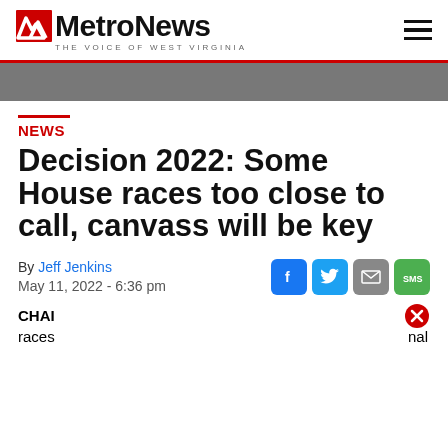MetroNews — THE VOICE OF WEST VIRGINIA
NEWS
Decision 2022: Some House races too close to call, canvass will be key
By Jeff Jenkins
May 11, 2022 - 6:36 pm
CHAR … races … tes … nal